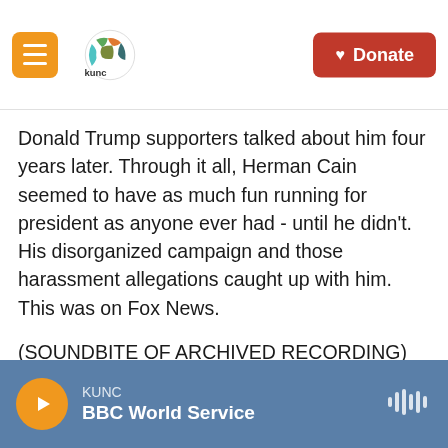KUNC logo and Donate button
Donald Trump supporters talked about him four years later. Through it all, Herman Cain seemed to have as much fun running for president as anyone ever had - until he didn't. His disorganized campaign and those harassment allegations caught up with him. This was on Fox News.
(SOUNDBITE OF ARCHIVED RECORDING)
CAIN: As long as I was still low in the polls relative to the Republican nomination, this stuff didn't come out.
KUNC | BBC World Service